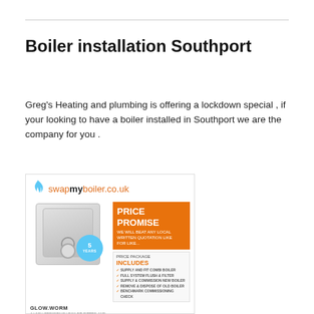Boiler installation Southport
Greg's Heating and plumbing is offering a lockdown special , if your looking to have a boiler installed in Southport we are the company for you .
[Figure (infographic): Swapmyboiler.co.uk advertisement showing a boiler unit with a 5 years badge, a Price Promise orange banner, GLOW WORM £1275 price, and a Price Package Includes checklist panel.]